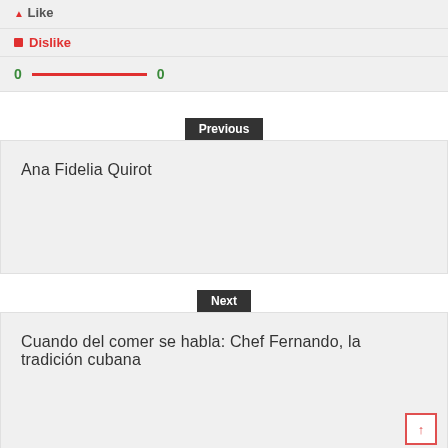Like
Dislike
0 — 0
Previous
Ana Fidelia Quirot
Next
Cuando del comer se habla: Chef Fernando, la tradición cubana